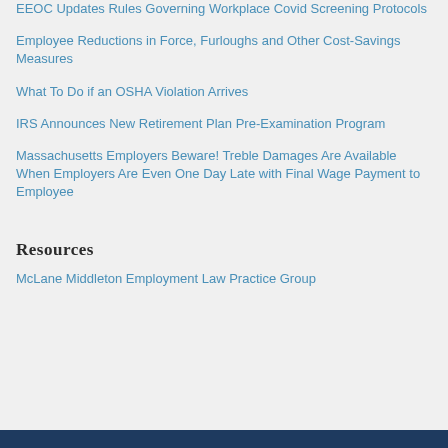EEOC Updates Rules Governing Workplace Covid Screening Protocols
Employee Reductions in Force, Furloughs and Other Cost-Savings Measures
What To Do if an OSHA Violation Arrives
IRS Announces New Retirement Plan Pre-Examination Program
Massachusetts Employers Beware! Treble Damages Are Available When Employers Are Even One Day Late with Final Wage Payment to Employee
Resources
McLane Middleton Employment Law Practice Group